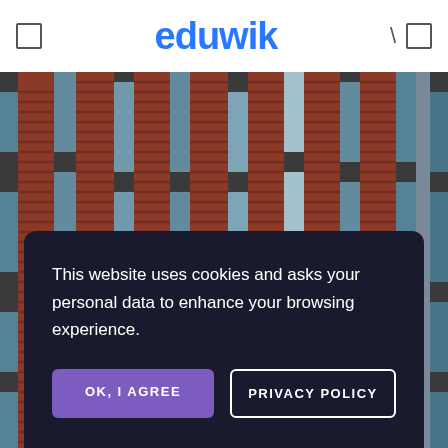eduwik
[Figure (photo): Exterior facade of a modern building with red brick panels, dark grey columns, and blue-tinted windows arranged in vertical strips — architectural pattern shot.]
This website uses cookies and asks your personal data to enhance your browsing experience.
OK, I AGREE
PRIVACY POLICY